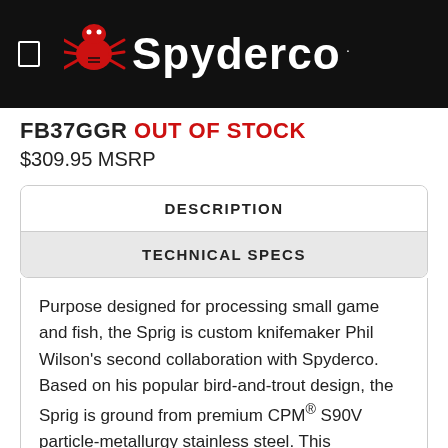Spyderco
FB37GGR OUT OF STOCK
$309.95 MSRP
DESCRIPTION
TECHNICAL SPECS
Purpose designed for processing small game and fish, the Sprig is custom knifemaker Phil Wilson's second collaboration with Spyderco. Based on his popular bird-and-trout design, the Sprig is ground from premium CPM® S90V particle-metallurgy stainless steel. This